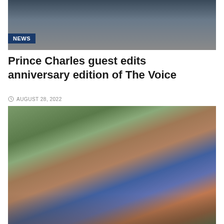[Figure (photo): Photo of Prince Charles in a dark suit with tie, partially visible from chest up]
NEWS
Prince Charles guest edits anniversary edition of The Voice
AUGUST 28, 2022
[Figure (photo): Crowd of protesters or marchers at an outdoor event, people wearing colorful t-shirts and carrying signs]